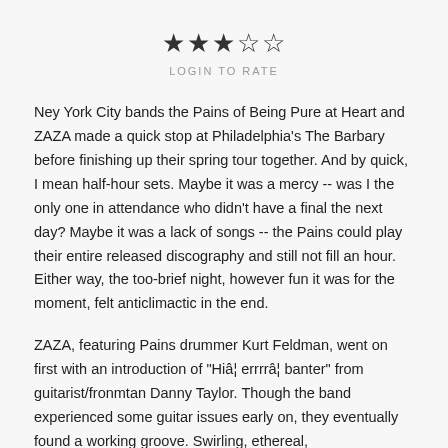[Figure (other): Star rating graphic showing 3 out of 5 filled stars]
LOGIN TO RATE
Ney York City bands the Pains of Being Pure at Heart and ZAZA made a quick stop at Philadelphia's The Barbary before finishing up their spring tour together. And by quick, I mean half-hour sets. Maybe it was a mercy -- was I the only one in attendance who didn't have a final the next day? Maybe it was a lack of songs -- the Pains could play their entire released discography and still not fill an hour. Either way, the too-brief night, however fun it was for the moment, felt anticlimactic in the end.
ZAZA, featuring Pains drummer Kurt Feldman, went on first with an introduction of "Hiâ¦ errrrâ¦ banter" from guitarist/fronmtan Danny Taylor. Though the band experienced some guitar issues early on, they eventually found a working groove. Swirling, ethereal,